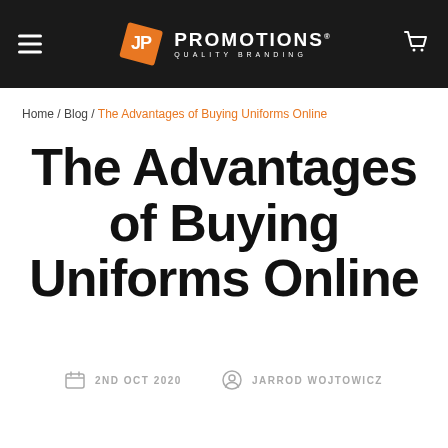JP Promotions Quality Branding — navigation header
Home / Blog / The Advantages of Buying Uniforms Online
The Advantages of Buying Uniforms Online
2ND OCT 2020   JARROD WOJTOWICZ